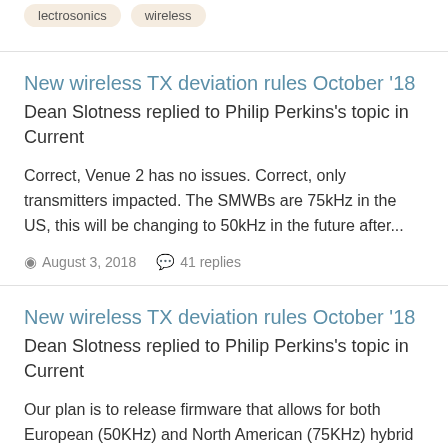lectrosonics
wireless
New wireless TX deviation rules October '18
Dean Slotness replied to Philip Perkins's topic in Current
Correct, Venue 2 has no issues. Correct, only transmitters impacted. The SMWBs are 75kHz in the US, this will be changing to 50kHz in the future after...
August 3, 2018   41 replies
New wireless TX deviation rules October '18
Dean Slotness replied to Philip Perkins's topic in Current
Our plan is to release firmware that allows for both European (50KHz) and North American (75KHz) hybrid